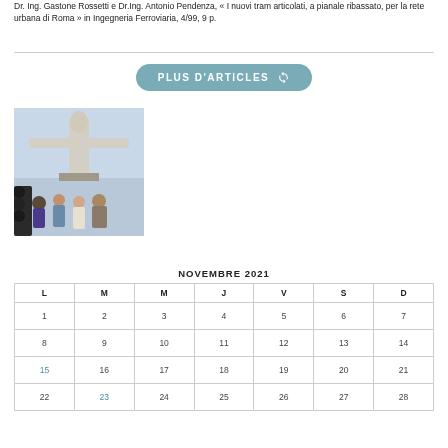Dr. Ing. Gastone Rossetti e Dr.Ing. Antonio Pendenza, « I nuovi tram articolati, a pianale ribassato, per la rete urbana di Roma » in Ingegneria Ferroviaria, 4/99, 9 p.
PLUS D'ARTICLES
[Figure (photo): Photo of people standing in front of the Christ the Redeemer statue in Rio de Janeiro]
NOVEMBRE 2021
| L | M | M | J | V | S | D |
| --- | --- | --- | --- | --- | --- | --- |
| 1 | 2 | 3 | 4 | 5 | 6 | 7 |
| 8 | 9 | 10 | 11 | 12 | 13 | 14 |
| 15 | 16 | 17 | 18 | 19 | 20 | 21 |
| 22 | 23 | 24 | 25 | 26 | 27 | 28 |